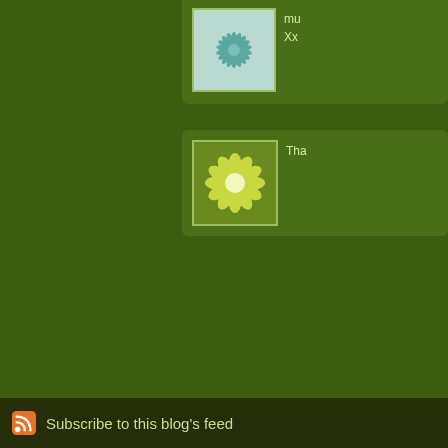[Figure (illustration): Blog comment avatar - teal/blue starburst pattern on light background]
mu Xx
[Figure (illustration): Blog comment avatar - yellow/green flower mandala pattern on green background]
Tha
The comments to t
P
twenty things to k fact that you read m seen a few blogs d
Subscribe to this blog's feed